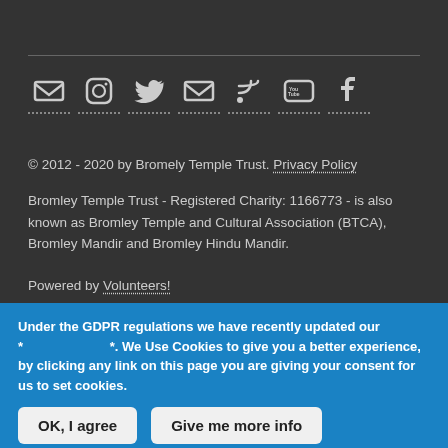[Figure (infographic): Row of social media icons: email, Instagram, Twitter, email/newsletter, RSS feed, YouTube, Facebook]
© 2012 - 2020 by Bromely Temple Trust. Privacy Policy
Bromley Temple Trust - Registered Charity: 1166773 - is also known as Bromley Temple and Cultural Association (BTCA), Bromley Mandir and Bromley Hindu Mandir.
Powered by Volunteers!
Under the GDPR regulations we have recently updated our * *. We Use Cookies to give you a better experience, by clicking any link on this page you are giving your consent for us to set cookies.
OK, I agree
Give me more info